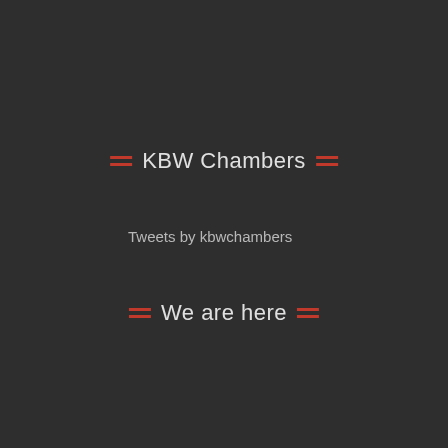KBW Chambers
Tweets by kbwchambers
We are here